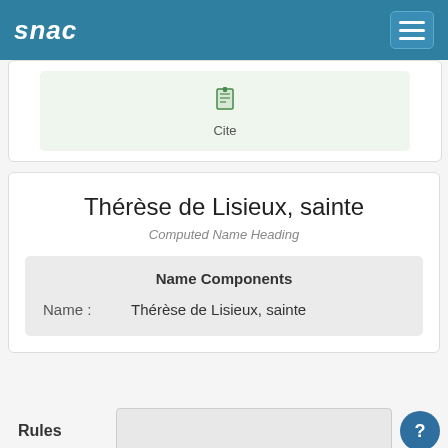snac
[Figure (screenshot): Cite button with book icon in a light green box]
Thérèse de Lisieux, sainte
Computed Name Heading
Name Components
Name :   Thérèse de Lisieux, sainte
Rules